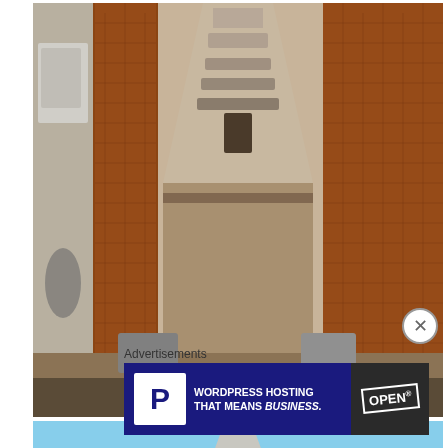[Figure (photo): Ancient temple ruins at Wat Mahathat, Ayutthaya, Thailand — brick columns and weathered stone structures framing a crumbling prangtower in the background.]
Wat Mahathat, Ayutthaya
[Figure (photo): Temple spires and chedis at Ayutthaya, Thailand, shot from below against a clear blue sky — a large ribbed prang and a smaller brick stupa in the foreground.]
Advertisements
[Figure (screenshot): Advertisement banner: WordPress hosting logo (white P in blue box) with text 'WORDPRESS HOSTING THAT MEANS BUSINESS.' and an image of an OPEN sign on the right.]